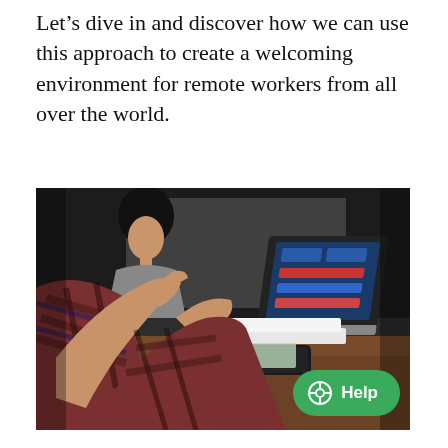Let's dive in and discover how we can use this approach to create a welcoming environment for remote workers from all over the world.
[Figure (photo): Photo of people at a meeting table, one person gesturing with hands, a laptop open in the background, phones and notebooks on the table. A woman is visible in the background. The scene is a collaborative workspace environment.]